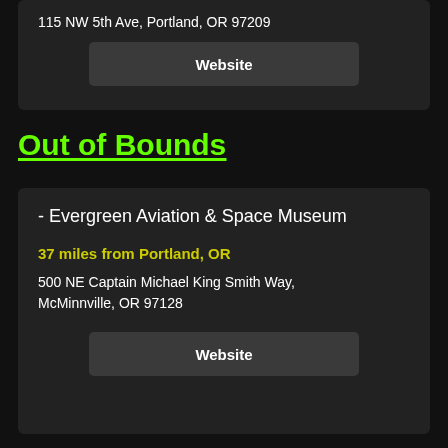115 NW 5th Ave, Portland, OR 97209
Website
Out of Bounds
- Evergreen Aviation & Space Museum
37 miles from Portland, OR
500 NE Captain Michael King Smith Way, McMinnville, OR 97128
Website